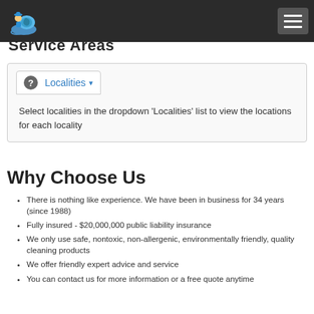[Figure (logo): Cartoon mascot logo of a person riding a snail, on dark header bar]
Service Areas
Localities ▾
Select localities in the dropdown 'Localities' list to view the locations for each locality
Why Choose Us
There is nothing like experience. We have been in business for 34 years (since 1988)
Fully insured - $20,000,000 public liability insurance
We only use safe, nontoxic, non-allergenic, environmentally friendly, quality cleaning products
We offer friendly expert advice and service
You can contact us for more information or a free quote anytime